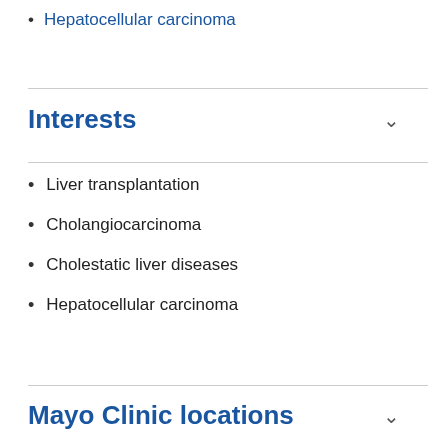Hepatocellular carcinoma
Interests
Liver transplantation
Cholangiocarcinoma
Cholestatic liver diseases
Hepatocellular carcinoma
Mayo Clinic locations